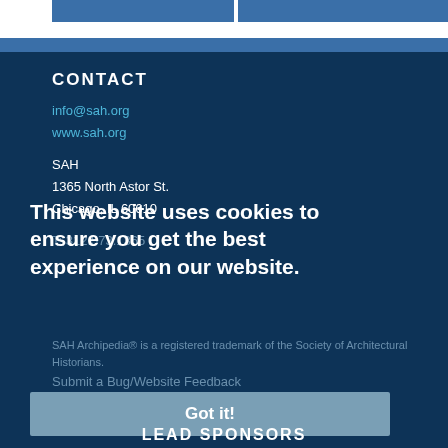CONTACT
info@sah.org
www.sah.org
SAH
1365 North Astor St.
Chicago, IL 60610
T: 312.573.1365
This website uses cookies to ensure you get the best experience on our website.
SAH Archipedia® is a registered trademark of the Society of Architectural Historians.
Submit a Bug/Website Feedback
Got it!
LEAD SPONSORS